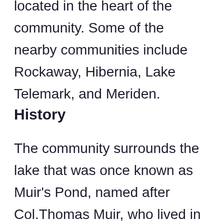located in the heart of the community. Some of the nearby communities include Rockaway, Hibernia, Lake Telemark, and Meriden.
History
The community surrounds the lake that was once known as Muir's Pond, named after Col.Thomas Muir, who lived in the area from 1825 until he died in 1855. However, the name White Meadow